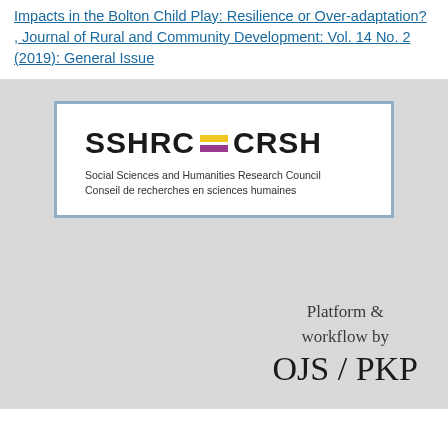Impacts in the Bolton Child Play: Resilience or Over-adaptation?, Journal of Rural and Community Development: Vol. 14 No. 2 (2019): General Issue
[Figure (logo): SSHRC CRSH logo — Social Sciences and Humanities Research Council / Conseil de recherches en sciences humaines, with yellow and purple horizontal bars between the two acronyms]
Platform & workflow by OJS / PKP